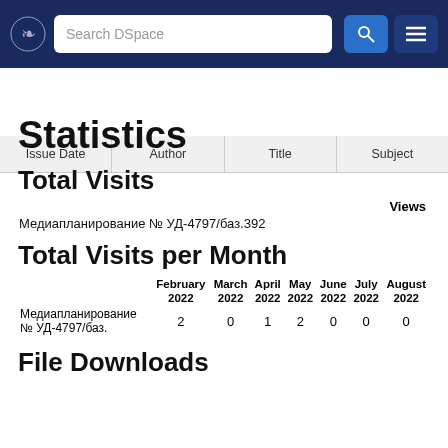Search DSpace
| Issue Date | Author | Title | Subject |
| --- | --- | --- | --- |
Statistics
Total Visits
|  | Views |
| --- | --- |
| Медиапланирование № УД-4797/баз.392 |  |
Total Visits per Month
|  | February 2022 | March 2022 | April 2022 | May 2022 | June 2022 | July 2022 | August 2022 |
| --- | --- | --- | --- | --- | --- | --- | --- |
| Медиапланирование № УД-4797/баз. | 2 | 0 | 1 | 2 | 0 | 0 | 0 |
File Downloads